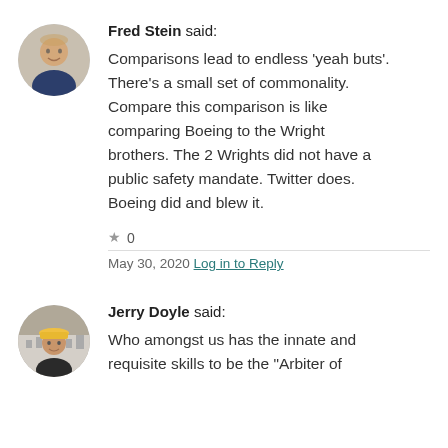[Figure (photo): Circular avatar photo of Fred Stein, a smiling middle-aged man in a suit]
Fred Stein said:
Comparisons lead to endless 'yeah buts'. There's a small set of commonality. Compare this comparison is like comparing Boeing to the Wright brothers. The 2 Wrights did not have a public safety mandate. Twitter does. Boeing did and blew it.
★ 0
May 30, 2020 Log in to Reply
[Figure (photo): Circular avatar photo of Jerry Doyle, a man wearing a yellow hard hat in front of a building]
Jerry Doyle said:
Who amongst us has the innate and requisite skills to be the "Arbiter of